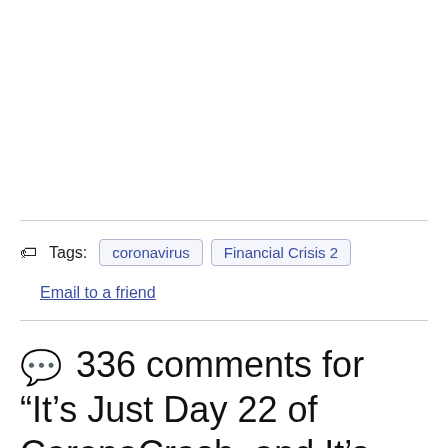Tags: coronavirus  Financial Crisis 2
Email to a friend
336 comments for “It’s Just Day 22 of CoronaCrash, and It’s Already Such